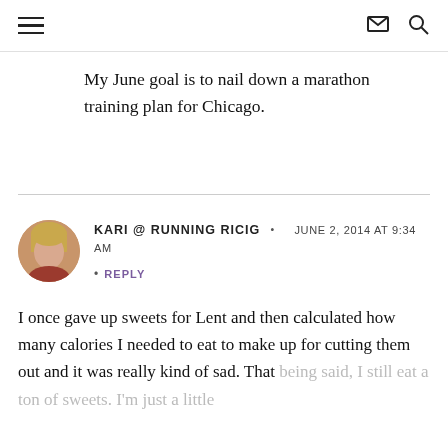navigation header with hamburger menu, mail icon, search icon
My June goal is to nail down a marathon training plan for Chicago.
KARI @ RUNNING RICIG · JUNE 2, 2014 AT 9:34 AM · REPLY
I once gave up sweets for Lent and then calculated how many calories I needed to eat to make up for cutting them out and it was really kind of sad. That being said, I still eat a ton of sweets. I'm just a little smarter about what I eat otherwise.